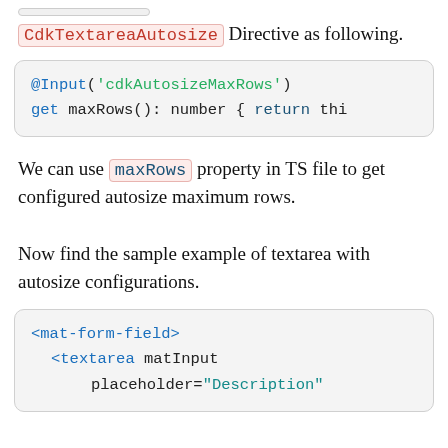CdkTextareaAutosize Directive as following.
@Input('cdkAutosizeMaxRows')
get maxRows(): number { return thi
We can use maxRows property in TS file to get configured autosize maximum rows.
Now find the sample example of textarea with autosize configurations.
<mat-form-field>
  <textarea matInput
          placeholder="Description"